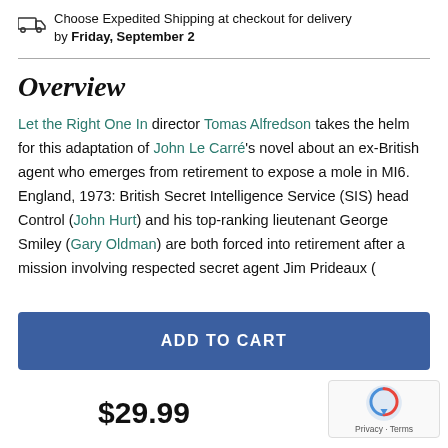Choose Expedited Shipping at checkout for delivery by Friday, September 2
Overview
Let the Right One In director Tomas Alfredson takes the helm for this adaptation of John Le Carré's novel about an ex-British agent who emerges from retirement to expose a mole in MI6. England, 1973: British Secret Intelligence Service (SIS) head Control (John Hurt) and his top-ranking lieutenant George Smiley (Gary Oldman) are both forced into retirement after a mission involving respected secret agent Jim Prideaux (
ADD TO CART
$29.99